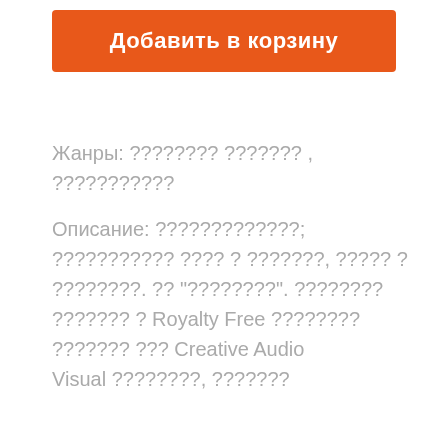Добавить в корзину
Жанры: ???????? ??????? , ???????????
Описание: ?????????????; ??????????? ???? ? ???????, ????? ? ????????. ?? "????????". ???????? ??????? ? Royalty Free ???????? ??????? ??? Creative Audio Visual ????????, ???????